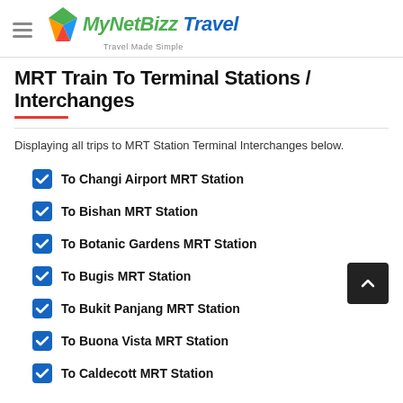MyNetBizz Travel — Travel Made Simple
MRT Train To Terminal Stations / Interchanges
Displaying all trips to MRT Station Terminal Interchanges below.
To Changi Airport MRT Station
To Bishan MRT Station
To Botanic Gardens MRT Station
To Bugis MRT Station
To Bukit Panjang MRT Station
To Buona Vista MRT Station
To Caldecott MRT Station